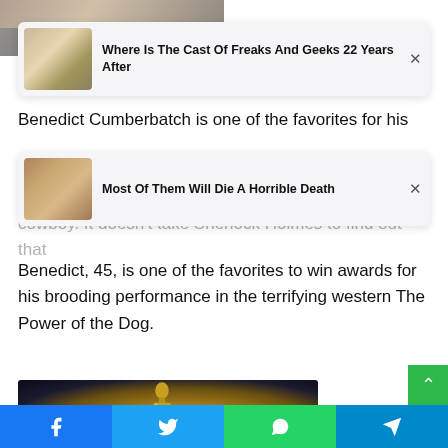[Figure (photo): Top strip showing partial images of people, partially cropped]
[Figure (screenshot): Ad card: Where Is The Cast Of Freaks And Geeks 22 Years After, with thumbnail of two people smiling]
Benedict Cumberbatch is one of the favorites for his
[Figure (screenshot): Ad card: Most Of Them Will Die A Horrible Death, with thumbnail of people standing on a street]
performance in the western The Power of the Dog, better known as a respected heroine than a cowboy. It doesn't take Sherlock Holmes to find out that
Benedict, 45, is one of the favorites to win awards for his brooding performance in the terrifying western The Power of the Dog.
[Figure (photo): Oscar golden statue figurine against dark blue background]
Facebook  Twitter  WhatsApp  Telegram